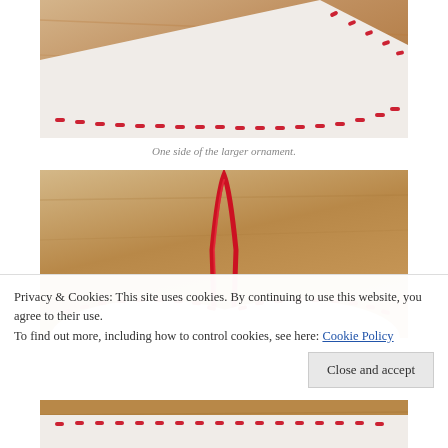[Figure (photo): Close-up of white felt heart ornament corner with red running stitch embroidery on a wooden surface]
One side of the larger ornament.
[Figure (photo): White felt heart ornament with red running stitch and a red satin ribbon loop hanger, photographed on a wooden surface, showing both lobes of the heart from above]
Privacy & Cookies: This site uses cookies. By continuing to use this website, you agree to their use.
To find out more, including how to control cookies, see here: Cookie Policy
[Figure (photo): Bottom portion of felt heart ornament visible at page bottom]